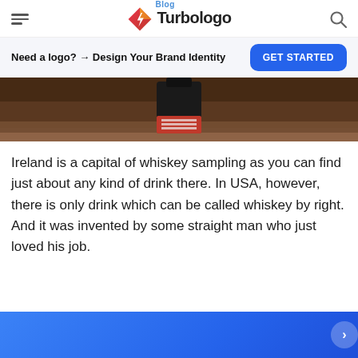Turbologo Blog
Need a logo? → Design Your Brand Identity
[Figure (photo): Close-up photo of a Jack Daniel's whiskey bottle on a wooden surface with dark background]
Ireland is a capital of whiskey sampling as you can find just about any kind of drink there. In USA, however, there is only drink which can be called whiskey by right. And it was invented by some straight man who just loved his job.
[Figure (other): Blue gradient banner/CTA section at the bottom of the page with a circular button on the right]